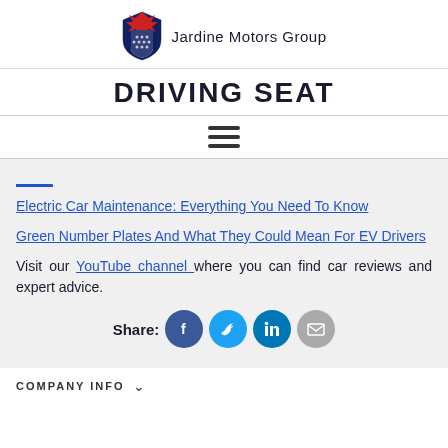[Figure (logo): Jardine Motors Group logo with thistle/shield emblem and text 'Jardine Motors Group']
DRIVING SEAT
[Figure (other): Hamburger menu icon (three horizontal lines)]
Electric Car Maintenance: Everything You Need To Know
Green Number Plates And What They Could Mean For EV Drivers
Visit our YouTube channel where you can find car reviews and expert advice.
Share:
COMPANY INFO